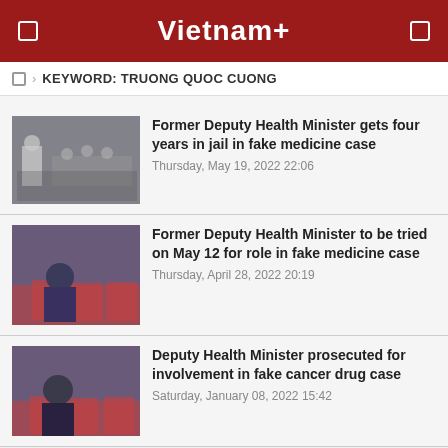Vietnam+
KEYWORD: TRUONG QUOC CUONG
[Figure (photo): Courtroom scene with people wearing masks, a man in white shirt standing]
Former Deputy Health Minister gets four years in jail in fake medicine case
Thursday, May 19, 2022 22:06
[Figure (photo): Man with glasses wearing dark jacket seated, red chairs in background]
Former Deputy Health Minister to be tried on May 12 for role in fake medicine case
Thursday, April 28, 2022 20:19
[Figure (photo): Man with glasses wearing dark jacket, red chairs in background, similar venue]
Deputy Health Minister prosecuted for involvement in fake cancer drug case
Saturday, January 08, 2022 15:42